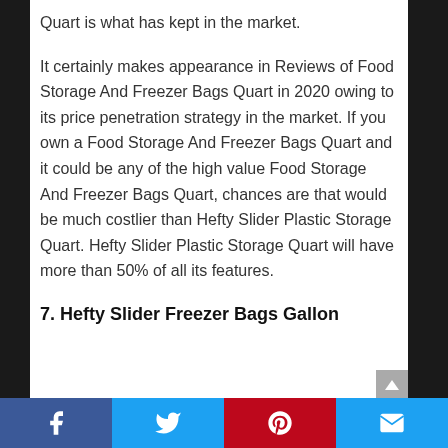Quart is what has kept in the market.
It certainly makes appearance in Reviews of Food Storage And Freezer Bags Quart in 2020 owing to its price penetration strategy in the market. If you own a Food Storage And Freezer Bags Quart and it could be any of the high value Food Storage And Freezer Bags Quart, chances are that would be much costlier than Hefty Slider Plastic Storage Quart. Hefty Slider Plastic Storage Quart will have more than 50% of all its features.
7. Hefty Slider Freezer Bags Gallon
Facebook | Twitter | Pinterest | Email